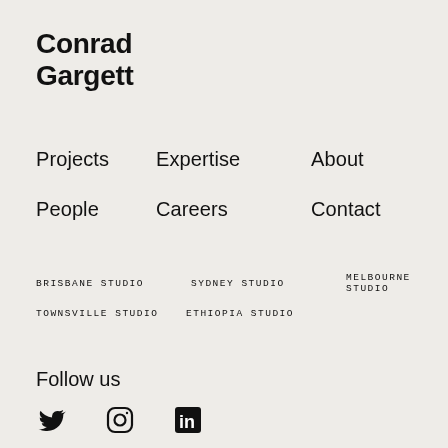Conrad Gargett
Projects
Expertise
About
Journal
People
Careers
Contact
BRISBANE STUDIO
SYDNEY STUDIO
MELBOURNE STUDIO
TOWNSVILLE STUDIO
ETHIOPIA STUDIO
Follow us
[Figure (illustration): Social media icons: Twitter (bird), Instagram (camera), LinkedIn (in)]